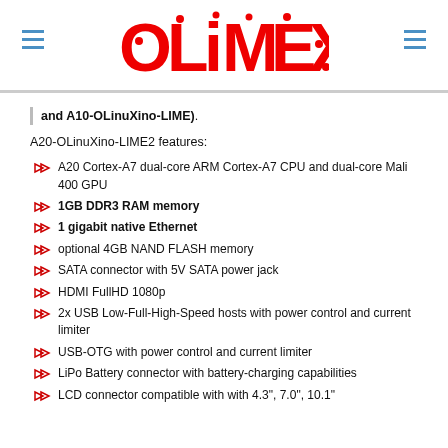OLIMEX logo with hamburger menus
and A10-OLinuXino-LIME).
A20-OLinuXino-LIME2 features:
A20 Cortex-A7 dual-core ARM Cortex-A7 CPU and dual-core Mali 400 GPU
1GB DDR3 RAM memory
1 gigabit native Ethernet
optional 4GB NAND FLASH memory
SATA connector with 5V SATA power jack
HDMI FullHD 1080p
2x USB Low-Full-High-Speed hosts with power control and current limiter
USB-OTG with power control and current limiter
LiPo Battery connector with battery-charging capabilities
LCD connector compatible with with 4.3", 7.0", 10.1"